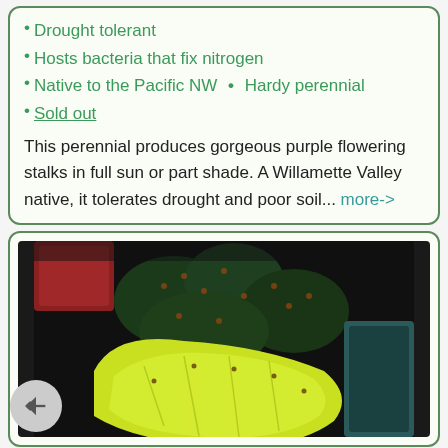Drought tolerant
Hosts bacteria that fix nitrogen
Native to the Pacific NW  •  Hardy perennial
Sold out
This perennial produces gorgeous purple flowering stalks in full sun or part shade. A Willamette Valley native, it tolerates drought and poor soil... more->
[Figure (photo): Close-up photo of a cactus plant with dark green spiny pads and a yellow-green flower or pad in the foreground, in a nursery setting with red trays visible in background.]